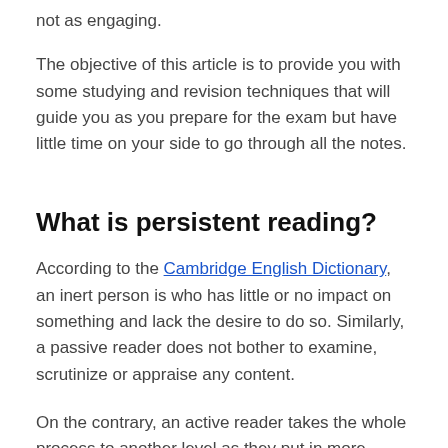not as engaging.
The objective of this article is to provide you with some studying and revision techniques that will guide you as you prepare for the exam but have little time on your side to go through all the notes.
What is persistent reading?
According to the Cambridge English Dictionary, an inert person is who has little or no impact on something and lack the desire to do so. Similarly, a passive reader does not bother to examine, scrutinize or appraise any content.
On the contrary, an active reader takes the whole process to another level as they put in more effort. They not only read through the pages, but they are